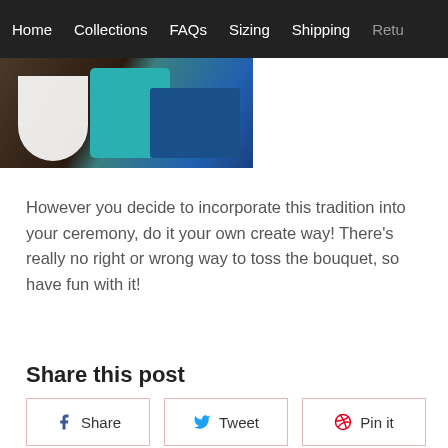Home  Collections  FAQs  Sizing  Shipping  Retu…
[Figure (photo): Wedding scene with a bride in a white dress and guests in teal and blue dresses on a dance floor]
However you decide to incorporate this tradition into your ceremony, do it your own create way! There's really no right or wrong way to toss the bouquet, so have fun with it!
Share this post
Share  Tweet  Pin it